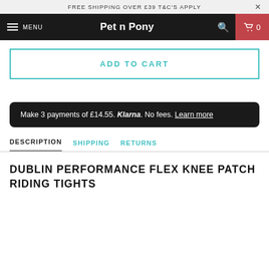FREE SHIPPING OVER £39 T&C'S APPLY
Pet n Pony  MENU  0
ADD TO CART
Make 3 payments of £14.55. Klarna. No fees. Learn more
DESCRIPTION  SHIPPING  RETURNS
DUBLIN PERFORMANCE FLEX KNEE PATCH RIDING TIGHTS